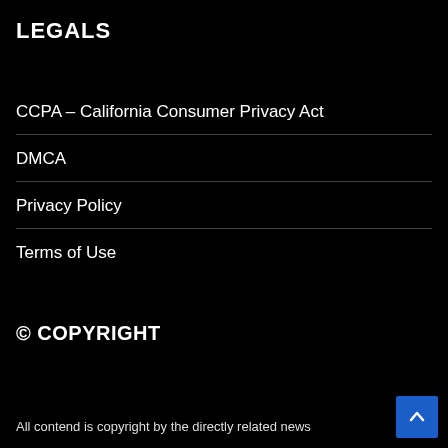LEGALS
CCPA – California Consumer Privacy Act
DMCA
Privacy Policy
Terms of Use
© COPYRIGHT
All contend is copyright by the directly related news